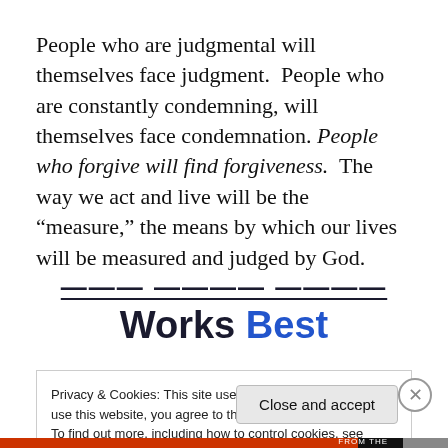People who are judgmental will themselves face judgment.  People who are constantly condemning, will themselves face condemnation. People who forgive will find forgiveness.  The way we act and live will be the "measure," the means by which our lives will be measured and judged by God.
[Figure (screenshot): Partial website header text reading 'Where Works Best' with decorative underline styling, partially cut off at top]
[Figure (screenshot): Cookie consent banner: 'Privacy & Cookies: This site uses cookies. By continuing to use this website, you agree to their use. To find out more, including how to control cookies, see here: Cookie Policy' with a 'Close and accept' button and an X close button]